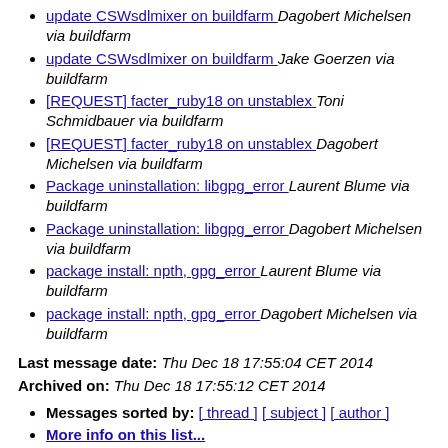update CSWsdlmixer on buildfarm  Dagobert Michelsen via buildfarm
update CSWsdlmixer on buildfarm  Jake Goerzen via buildfarm
[REQUEST] facter_ruby18 on unstablex  Toni Schmidbauer via buildfarm
[REQUEST] facter_ruby18 on unstablex  Dagobert Michelsen via buildfarm
Package uninstallation: libgpg_error  Laurent Blume via buildfarm
Package uninstallation: libgpg_error  Dagobert Michelsen via buildfarm
package install: npth, gpg_error  Laurent Blume via buildfarm
package install: npth, gpg_error  Dagobert Michelsen via buildfarm
Last message date: Thu Dec 18 17:55:04 CET 2014
Archived on: Thu Dec 18 17:55:12 CET 2014
Messages sorted by: [ thread ] [ subject ] [ author ]
More info on this list...
This archive was generated by Pipermail 0.09 (Mailman edition).